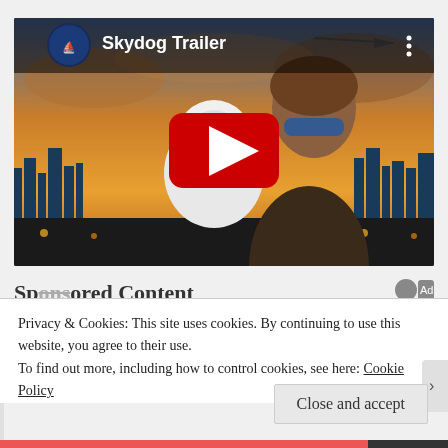[Figure (screenshot): YouTube video embed showing 'Skydog Trailer'. Thumbnail depicts a young man with sunglasses holding a white fluffy dog against a sunset city skyline background with a plane. A red YouTube play button is overlaid in the center. Top-left shows a circular logo with 'Crystal Creek' and the title 'Skydog Trailer'. Top-right shows a three-dot menu icon.]
Sponsored Content
Privacy & Cookies: This site uses cookies. By continuing to use this website, you agree to their use.
To find out more, including how to control cookies, see here: Cookie Policy
Close and accept